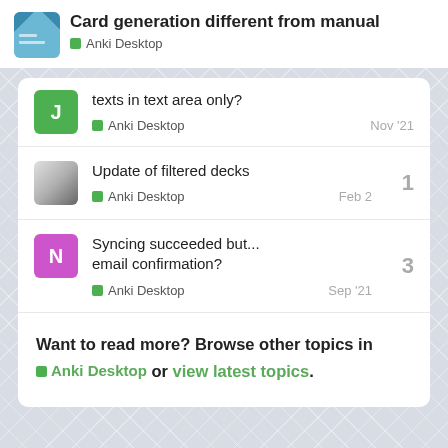Card generation different from manual — Anki Desktop
texts in text area only? — Anki Desktop — Nov '21
Update of filtered decks — 1 — Anki Desktop — Feb 2
Syncing succeeded but... email confirmation? — 3 — Anki Desktop — Sep '21
Want to read more? Browse other topics in Anki Desktop or view latest topics.